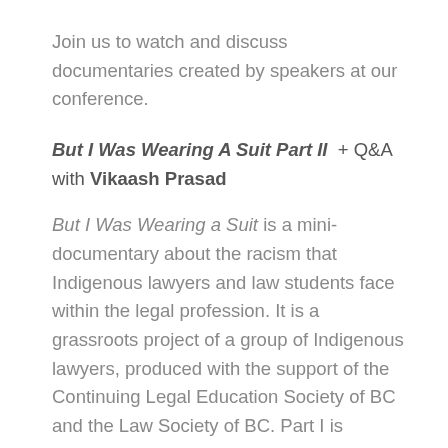Join us to watch and discuss documentaries created by speakers at our conference.
But I Was Wearing A Suit Part II + Q&A with Vikaash Prasad
But I Was Wearing a Suit is a mini-documentary about the racism that Indigenous lawyers and law students face within the legal profession. It is a grassroots project of a group of Indigenous lawyers, produced with the support of the Continuing Legal Education Society of BC and the Law Society of BC. Part I is viewable here.